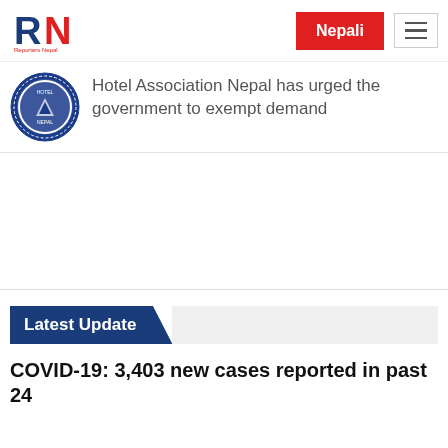Reporters Nepal | Nepali
Hotel Association Nepal has urged the government to exempt demand
Latest Update
COVID-19: 3,403 new cases reported in past 24